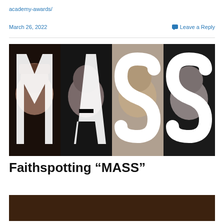academy-awards/
March 26, 2022    💬 Leave a Reply
[Figure (photo): Movie poster for MASS showing four faces (two women, two men) overlaid with large white letters M, A, S, S on a black background]
Faithspotting “MASS”
[Figure (photo): Partial bottom image strip with dark/brown tones, cropped at page bottom]